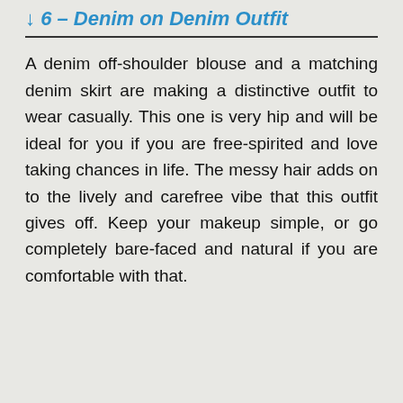↓ 6 – Denim on Denim Outfit
A denim off-shoulder blouse and a matching denim skirt are making a distinctive outfit to wear casually. This one is very hip and will be ideal for you if you are free-spirited and love taking chances in life. The messy hair adds on to the lively and carefree vibe that this outfit gives off. Keep your makeup simple, or go completely bare-faced and natural if you are comfortable with that.